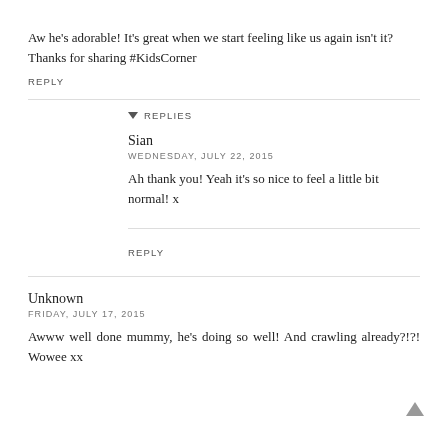Aw he's adorable! It's great when we start feeling like us again isn't it? Thanks for sharing #KidsCorner
REPLY
REPLIES
Sian
WEDNESDAY, JULY 22, 2015
Ah thank you! Yeah it's so nice to feel a little bit normal! x
REPLY
Unknown
FRIDAY, JULY 17, 2015
Awww well done mummy, he's doing so well! And crawling already?!?! Wowee xx